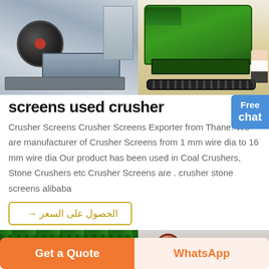[Figure (photo): Two industrial crusher machines: left shows a large grey jaw crusher in a factory; right shows a green mobile/tracked crusher machine outdoors with gravel; a woman figure visible at right edge.]
screens used crusher
Crusher Screens Crusher Screens Exporter from Thane. We are manufacturer of Crusher Screens from 1 mm wire dia to 16 mm wire dia Our product has been used in Coal Crushers, Stone Crushers etc Crusher Screens are . crusher stone screens alibaba
→ الحصول على السعر
[Figure (photo): Two partial images at bottom: left shows green industrial screen/conveyor equipment, right shows grey machinery with a red/pink flywheel.]
Get a Quote
WhatsApp